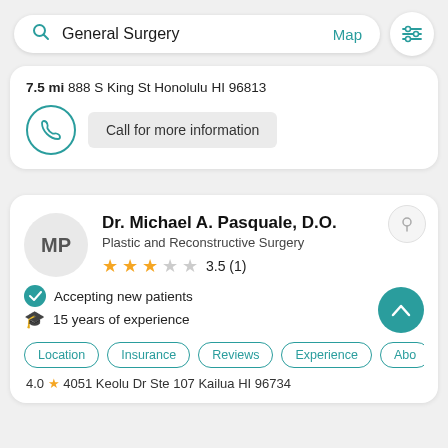[Figure (screenshot): Search bar with 'General Surgery' query, Map link, and filter button]
7.5 mi 888 S King St Honolulu HI 96813
Call for more information
Dr. Michael A. Pasquale, D.O.
Plastic and Reconstructive Surgery
3.5 (1)
Accepting new patients
15 years of experience
Location  Insurance  Reviews  Experience  Abo
4051 Keolu Dr Ste 107 Kailua HI 96734